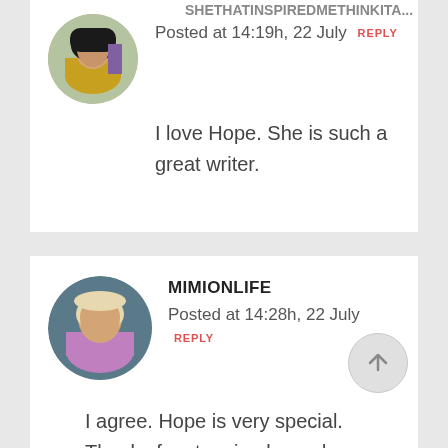Posted at 14:19h, 22 July REPLY
I love Hope. She is such a great writer.
MIMIONLIFE
Posted at 14:28h, 22 July REPLY
I agree. Hope is very special. Thanks for stopping by and commenting 🙂